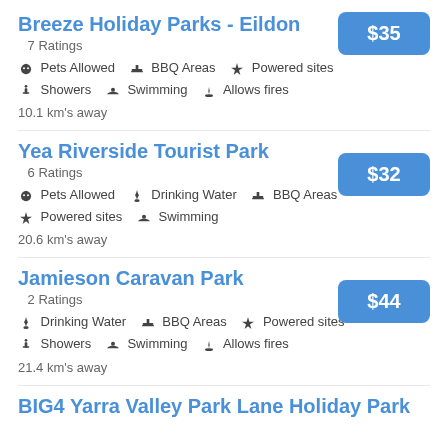Breeze Holiday Parks - Eildon
7 Ratings
Pets Allowed   BBQ Areas   Powered sites   Showers   Swimming   Allows fires
10.1 km's away
Yea Riverside Tourist Park
6 Ratings
Pets Allowed   Drinking Water   BBQ Areas   Powered sites   Swimming
20.6 km's away
Jamieson Caravan Park
2 Ratings
Drinking Water   BBQ Areas   Powered sites   Showers   Swimming   Allows fires
21.4 km's away
BIG4 Yarra Valley Park Lane Holiday Park